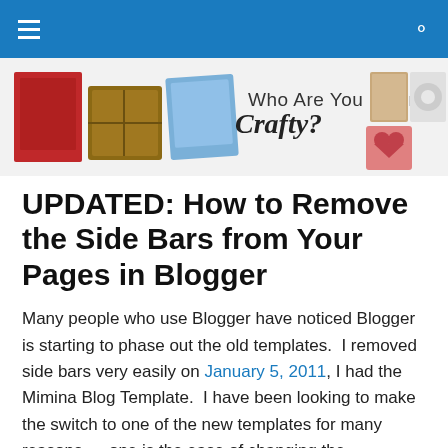≡  🔍
[Figure (illustration): Blog banner for 'Who Are You Calling Crafty?' with craft images and stylized text logo]
UPDATED: How to Remove the Side Bars from Your Pages in Blogger
Many people who use Blogger have noticed Blogger is starting to phase out the old templates.  I removed side bars very easily on January 5, 2011, I had the Mimina Blog Template.  I have been looking to make the switch to one of the new templates for many reasons — one is the ease of changing the background, and two, because I